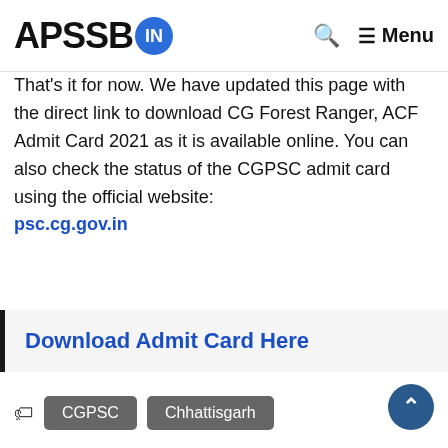APSSB.IN | Menu
That's it for now. We have updated this page with the direct link to download CG Forest Ranger, ACF Admit Card 2021 as it is available online. You can also check the status of the CGPSC admit card using the official website: psc.cg.gov.in
Download Admit Card Here
CGPSC  Chhattisgarh